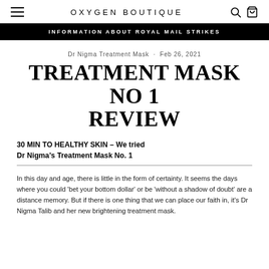OXYGEN BOUTIQUE
INFORMATION ABOUT ROYAL MAIL STRIKES
Dr Nigma Treatment Mask · Feb 26, 2021
TREATMENT MASK NO 1 REVIEW
30 MIN TO HEALTHY SKIN – We tried Dr Nigma's Treatment Mask No. 1
In this day and age, there is little in the form of certainty. It seems the days where you could 'bet your bottom dollar' or be 'without a shadow of doubt' are a distance memory. But if there is one thing that we can place our faith in, it's Dr Nigma Talib and her new brightening treatment mask.